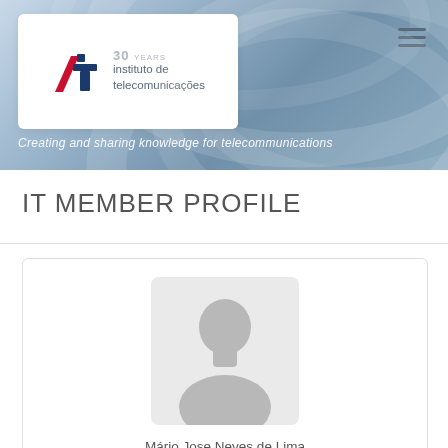[Figure (logo): Instituto de Telecomunicações logo with '30 years' text and tagline 'Creating and sharing knowledge for telecommunications']
IT MEMBER PROFILE
[Figure (photo): Default avatar/placeholder silhouette image for member profile]
Mário Jose Neves de Lima